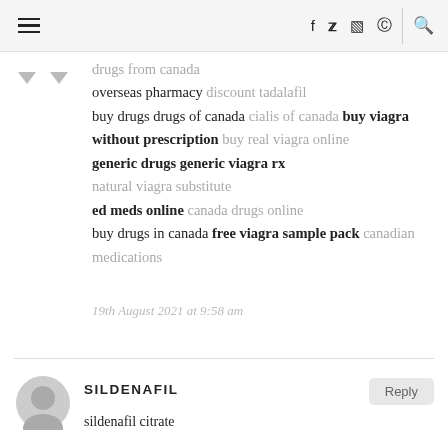Navigation bar with hamburger menu, social icons (f, twitter, instagram, pinterest), search icon
drugs from canada overseas pharmacy discount tadalafil buy drugs drugs of canada cialis of canada buy viagra without prescription buy real viagra online generic drugs generic viagra rx natural viagra substitute ed meds online canada drugs online buy drugs in canada free viagra sample pack canadian medications
19th August 2021 at 9:58 am
SILDENAFIL
sildenafil citrate